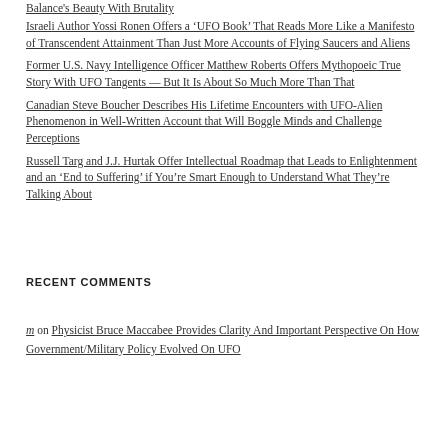Balance's Beauty With Brutality
Israeli Author Yossi Ronen Offers a ‘UFO Book’ That Reads More Like a Manifesto of Transcendent Attainment Than Just More Accounts of Flying Saucers and Aliens
Former U.S. Navy Intelligence Officer Matthew Roberts Offers Mythopoeic True Story With UFO Tangents — But It Is About So Much More Than That
Canadian Steve Boucher Describes His Lifetime Encounters with UFO-Alien Phenomenon in Well-Written Account that Will Boggle Minds and Challenge Perceptions
Russell Targ and J.J. Hurtak Offer Intellectual Roadmap that Leads to Enlightenment and an ‘End to Suffering’ if You’re Smart Enough to Understand What They’re Talking About
RECENT COMMENTS
m on Physicist Bruce Maccabee Provides Clarity And Important Perspective On How Government/Military Policy Evolved On UFO